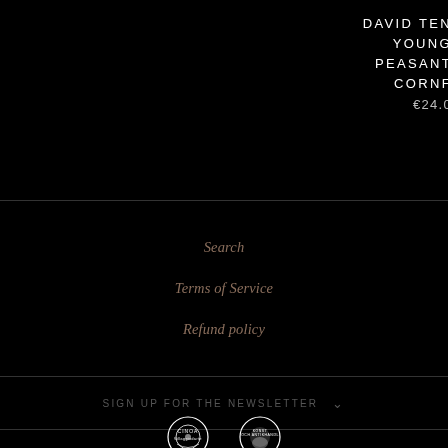DAVID TEN
YOUNG
PEASANT
CORNF
€24.0
Search
Terms of Service
Refund policy
SIGN UP FOR THE NEWSLETTER
[Figure (logo): CINOA circular logo badge]
[Figure (logo): Konst och antikhandel circular logo badge]